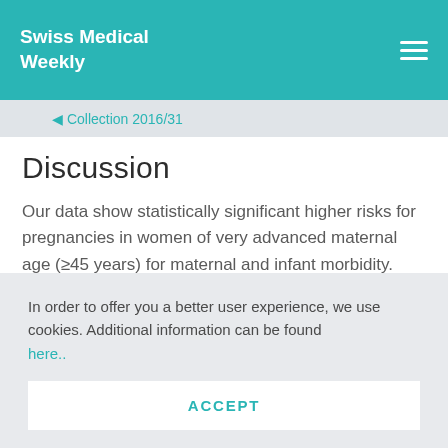Swiss Medical Weekly
◀ Collection 2016/31
Discussion
Our data show statistically significant higher risks for pregnancies in women of very advanced maternal age (≥45 years) for maternal and infant morbidity. Thirty-year-old women were selected as control group because the mean age of women at the time of
In order to offer you a better user experience, we use cookies. Additional information can be found here..
ACCEPT